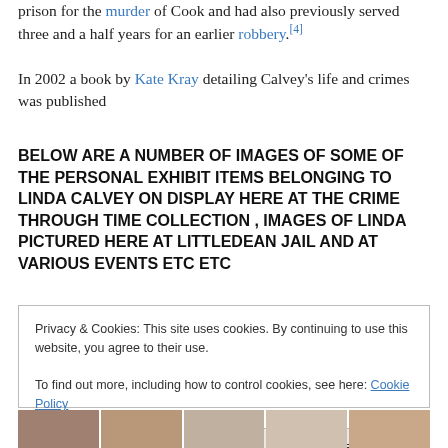prison for the murder of Cook and had also previously served three and a half years for an earlier robbery.[4]
In 2002 a book by Kate Kray detailing Calvey's life and crimes was published
BELOW ARE A NUMBER OF IMAGES OF SOME OF THE PERSONAL EXHIBIT ITEMS BELONGING TO LINDA CALVEY ON DISPLAY HERE AT THE CRIME THROUGH TIME COLLECTION , IMAGES OF LINDA PICTURED HERE AT LITTLEDEAN JAIL AND AT VARIOUS EVENTS ETC ETC
Privacy & Cookies: This site uses cookies. By continuing to use this website, you agree to their use.
To find out more, including how to control cookies, see here: Cookie Policy
Close and accept
[Figure (photo): A strip of thumbnail photos at the bottom of the page]